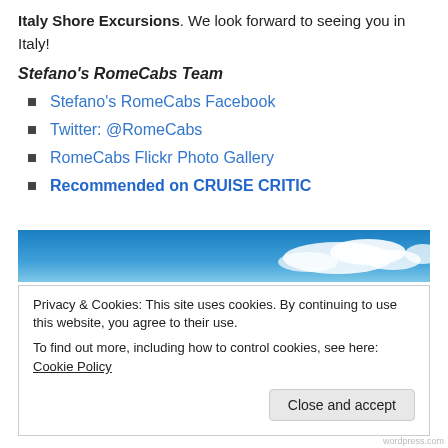Italy Shore Excursions. We look forward to seeing you in Italy!
Stefano's RomeCabs Team
Stefano's RomeCabs Facebook
Twitter: @RomeCabs
RomeCabs Flickr Photo Gallery
Recommended on CRUISE CRITIC
[Figure (photo): Blue sky with white clouds banner image]
Privacy & Cookies: This site uses cookies. By continuing to use this website, you agree to their use. To find out more, including how to control cookies, see here: Cookie Policy